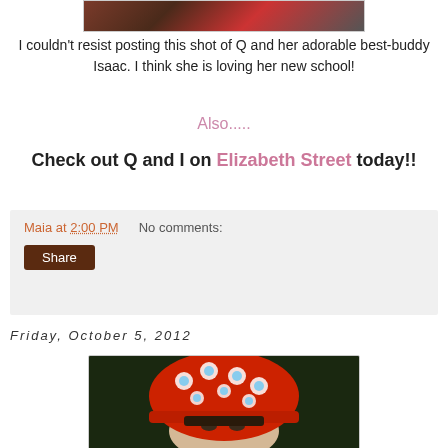[Figure (photo): Top portion of a photo showing children, partially cropped at top of page]
I couldn't resist posting this shot of Q and her adorable best-buddy Isaac. I think she is loving her new school!
Also.....
Check out Q and I on Elizabeth Street today!!
Maia at 2:00 PM   No comments:
Share
Friday, October 5, 2012
[Figure (photo): Child wearing a red floral hat with blue and white flower pattern, face partially visible]